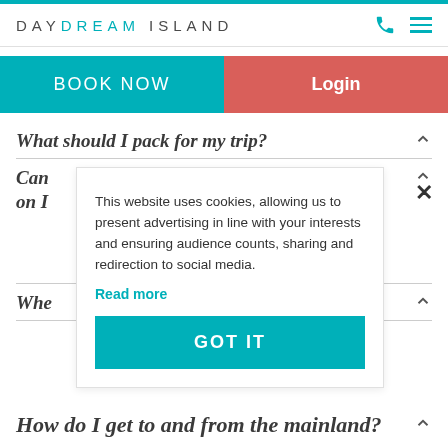DAYDREAM ISLAND
BOOK NOW | Login
What should I pack for my trip?
Can [I bring my pet] on I[sland]
This website uses cookies, allowing us to present advertising in line with your interests and ensuring audience counts, sharing and redirection to social media.
Read more
GOT IT
Whe[re can I stay]
How do I get to and from the mainland?